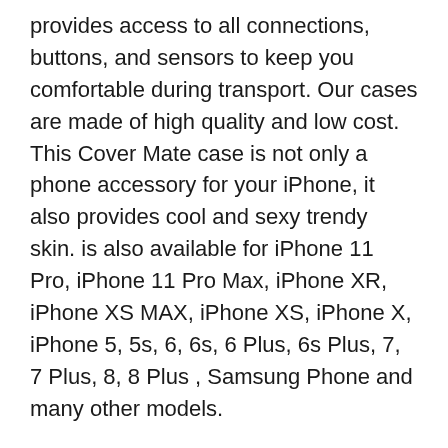provides access to all connections, buttons, and sensors to keep you comfortable during transport. Our cases are made of high quality and low cost. This Cover Mate case is not only a phone accessory for your iPhone, it also provides cool and sexy trendy skin. is also available for iPhone 11 Pro, iPhone 11 Pro Max, iPhone XR, iPhone XS MAX, iPhone XS, iPhone X, iPhone 5, 5s, 6, 6s, 6 Plus, 6s Plus, 7, 7 Plus, 8, 8 Plus , Samsung Phone and many other models.
You may think that a phone case is just an accessory that protects your device, but this detail can also fully reflect your style and personality. Protection Case will provide you access to all necessary buttons, there is no need to take off the case to charge the phone and snuggly fit.
The material and design of the case:
Made of high quality environmental material.